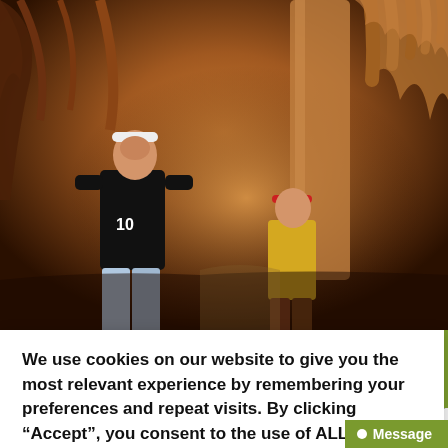[Figure (photo): Two visitors (a teenager in a black shirt with number 10 and a child in a yellow shirt) looking up at limestone cave formations — stalactites and stalagmites — in a cavern with warm orange-brown lighting.]
We use cookies on our website to give you the most relevant experience by remembering your preferences and repeat visits. By clicking “Accept”, you consent to the use of ALL the cookies.
Do not sell my personal information.
Cookie settings
ACCEPT
largest known limestone cavern systems in the north
Message